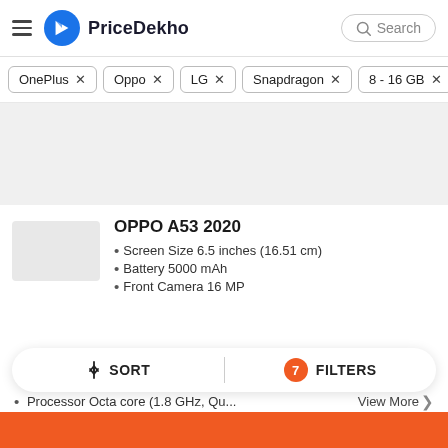PriceDekho
OnePlus ×
Oppo ×
LG ×
Snapdragon ×
8 - 16 GB ×
[Figure (other): Grey advertisement/banner placeholder area]
OPPO A53 2020
Screen Size 6.5 inches (16.51 cm)
Battery 5000 mAh
Front Camera 16 MP
Processor Octa core (1.8 GHz, Qu...
↓↑ SORT | 7 FILTERS
View More >